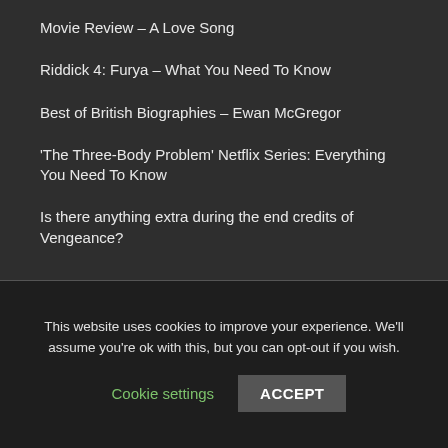Movie Review – A Love Song
Riddick 4: Furya – What You Need To Know
Best of British Biographies – Ewan McGregor
'The Three-Body Problem' Netflix Series: Everything You Need To Know
Is there anything extra during the end credits of Vengeance?
This website uses cookies to improve your experience. We'll assume you're ok with this, but you can opt-out if you wish.
Cookie settings
ACCEPT